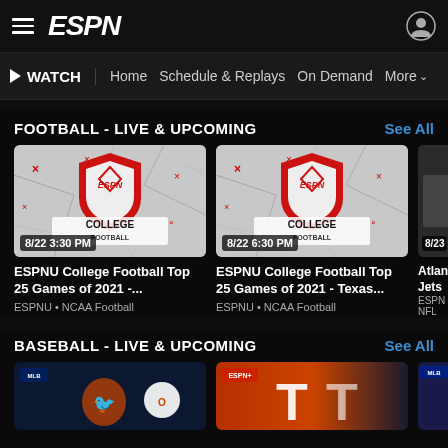ESPN
WATCH  Home  Schedule & Replays  On Demand  More
FOOTBALL - LIVE & UPCOMING  See All
[Figure (screenshot): ESPN College Football thumbnail showing red shield logo on cracked concrete background, dated 8/22 3:30 PM]
ESPNU College Football Top 25 Games of 2021 -...
ESPNU • NCAA Football
[Figure (screenshot): ESPN College Football thumbnail showing red shield logo on cracked concrete background, dated 8/22 6:30 PM]
ESPNU College Football Top 25 Games of 2021 - Texas...
ESPNU • NCAA Football
[Figure (screenshot): Partial thumbnail dated 8/23, Atlanta vs Jets, ESPN NFL]
Atlan... Jets
ESPN
NFL
BASEBALL - LIVE & UPCOMING  See All
[Figure (screenshot): MLB baseball card thumbnail with Orioles logo]
[Figure (screenshot): ESPN+ baseball thumbnail with team logos]
[Figure (screenshot): Partial MLB thumbnail]